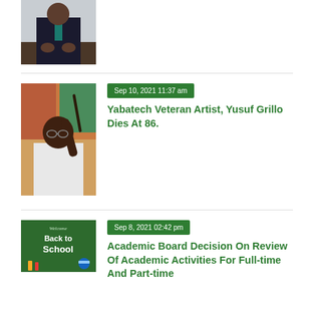[Figure (photo): Partial view of a man in a dark suit with a teal tie, seated at a table with hands clasped]
[Figure (photo): Elderly man holding a paintbrush, in a white shirt, with colorful artwork in background]
Sep 10, 2021 11:37 am
Yabatech Veteran Artist, Yusuf Grillo Dies At 86.
[Figure (photo): Welcome Back to School chalkboard sign with school supplies]
Sep 8, 2021 02:42 pm
Academic Board Decision On Review Of Academic Activities For Full-time And Part-time